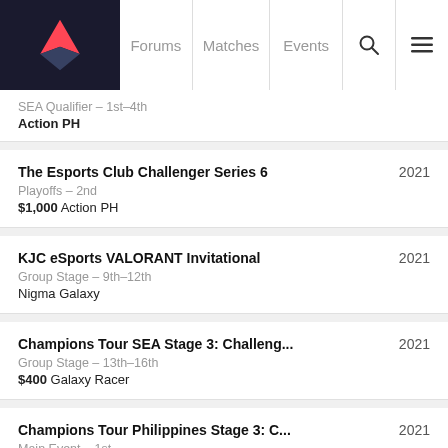Forums | Matches | Events
SEA Qualifier – 1st–4th
Action PH
The Esports Club Challenger Series 6 2021
Playoffs – 2nd
$1,000 Action PH
KJC eSports VALORANT Invitational 2021
Group Stage – 9th–12th
Nigma Galaxy
Champions Tour SEA Stage 3: Challeng... 2021
Group Stage – 13th–16th
$400 Galaxy Racer
Champions Tour Philippines Stage 3: C... 2021
Main Event – 1st
$412 Galaxy Racer
Champions Tour Philippines Stage 3: C... 2021
Main Event – 2nd